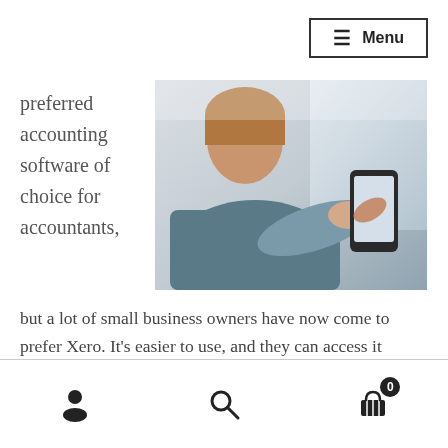Menu
preferred accounting software of choice for accountants,
[Figure (photo): Person sitting and using a smartphone, viewed from the side, with window light in background]
but a lot of small business owners have now come to prefer Xero. It's easier to use, and they can access it anywhere — their desktop PC, tablet or smartphone.
Meanwhile, the rise of cloud-based accounting software,
User icon | Search icon | Cart icon with badge 0